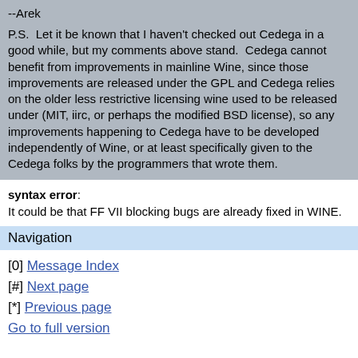--Arek
P.S.  Let it be known that I haven't checked out Cedega in a good while, but my comments above stand.  Cedega cannot benefit from improvements in mainline Wine, since those improvements are released under the GPL and Cedega relies on the older less restrictive licensing wine used to be released under (MIT, iirc, or perhaps the modified BSD license), so any improvements happening to Cedega have to be developed independently of Wine, or at least specifically given to the Cedega folks by the programmers that wrote them.
syntax error: It could be that FF VII blocking bugs are already fixed in WINE.
Navigation
[0] Message Index
[#] Next page
[*] Previous page
Go to full version